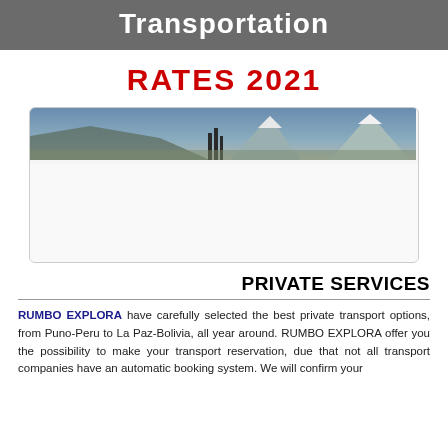Transportation
RATES 2021
[Figure (photo): Panoramic landscape photo showing mountains with snow-capped peaks and a city or structure in the background against a blue sky.]
PRIVATE SERVICES
RUMBO EXPLORA have carefully selected the best private transport options, from Puno-Peru to La Paz-Bolivia, all year around. RUMBO EXPLORA offer you the possibility to make your transport reservation, due that not all transport companies have an automatic booking system. We will confirm your